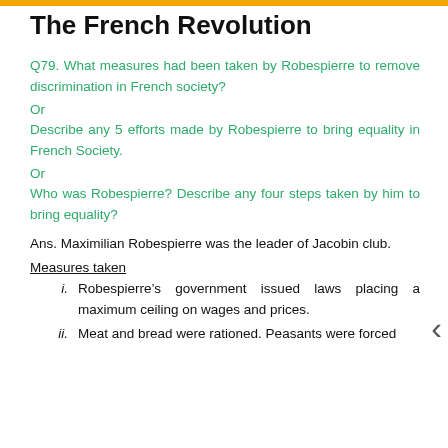The French Revolution
Q79. What measures had been taken by Robespierre to remove discrimination in French society?
Or
Describe any 5 efforts made by Robespierre to bring equality in French Society.
Or
Who was Robespierre? Describe any four steps taken by him to bring equality?
Ans. Maximilian Robespierre was the leader of Jacobin club.
Measures taken
i. Robespierre’s government issued laws placing a maximum ceiling on wages and prices.
ii. Meat and bread were rationed. Peasants were forced to transport their crops to the cities and sell them at prices fixed by the government.